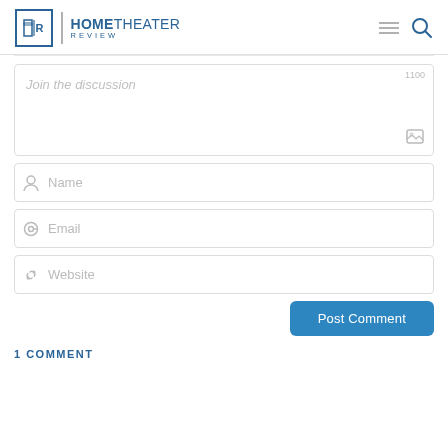HOME THEATER REVIEW
Join the discussion
1100
Name
Email
Website
Post Comment
1 COMMENT